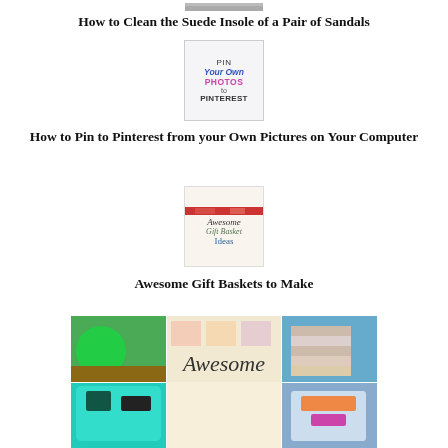[Figure (photo): Partial thumbnail image at top of page (sandals/suede insole)]
How to Clean the Suede Insole of a Pair of Sandals
[Figure (illustration): Pinterest graphic thumbnail: 'PIN Your Own PHOTOS to PINTEREST']
How to Pin to Pinterest from your Own Pictures on Your Computer
[Figure (illustration): Gift basket thumbnail: 'Awesome Gift Basket Ideas']
Awesome Gift Baskets to Make
[Figure (photo): Large photo collage showing 'Awesome' text overlay on gift basket images]